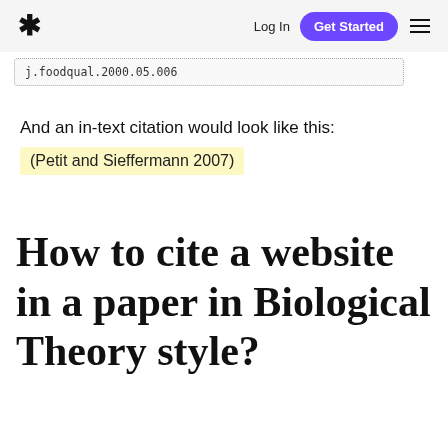* Log In  Get Started  ≡
j.foodqual.2000.05.006
And an in-text citation would look like this:
(Petit and Sieffermann 2007)
How to cite a website in a paper in Biological Theory style?